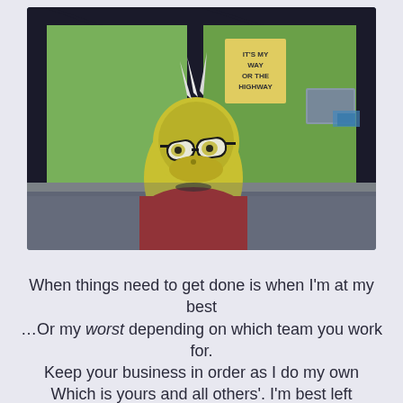[Figure (screenshot): Animated fish/monster character (from Shark Tale or similar animated film) sitting behind a counter or desk in an office-like setting with green walls, fluorescent ceiling lights, and window frames. The character has a mohawk, glasses, and an stern expression.]
When things need to get done is when I'm at my best ...Or my worst depending on which team you work for. Keep your business in order as I do my own Which is yours and all others'. I'm best left